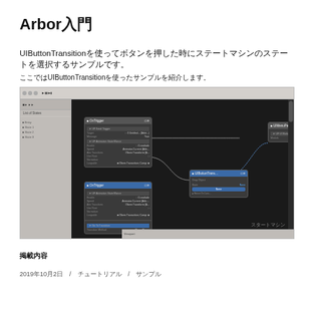Arbor入門
UIButtonTransitionを使ってボタンを押した時にステートマシンのステートを選択するサンプルです。
ここではUIButtonTransitionを使ったサンプルを紹介します。
[Figure (screenshot): Screenshot of Arbor node-based state machine editor in Unity, showing connected node boxes on a dark canvas with UI state transition nodes and properties panels on the left.]
掲載内容
2019年10月2日 / チュートリアル / サンプル